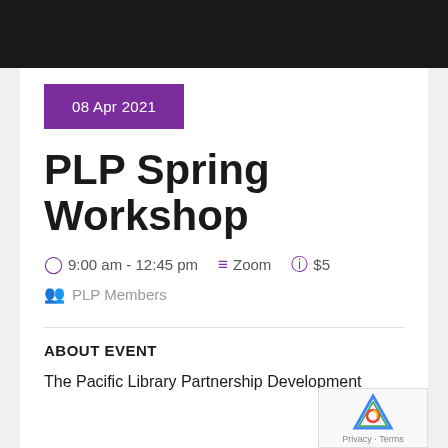08 Apr 2021
PLP Spring Workshop
9:00 am - 12:45 pm  Zoom  $5
PLP Members
ABOUT EVENT
The Pacific Library Partnership Development